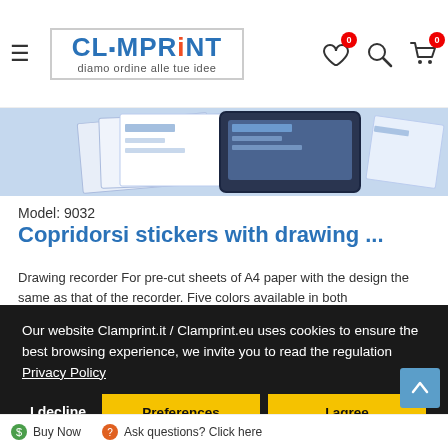[Figure (screenshot): Clamprint website header with hamburger menu, logo, and icons for wishlist, search, and cart (both cart and wishlist showing badge 0)]
[Figure (photo): Product image showing printed A4 paper sheets with a tablet/recorder on top, light blue background]
Model: 9032
Copridorsi stickers with drawing ...
Drawing recorder For pre-cut sheets of A4 paper with the design the same as that of the recorder. Five colors available in both
Our website Clamprint.it / Clamprint.eu uses cookies to ensure the best browsing experience, we invite you to read the regulation Privacy Policy
I decline
Preferences
I agree
Buy Now
Ask questions? Click here